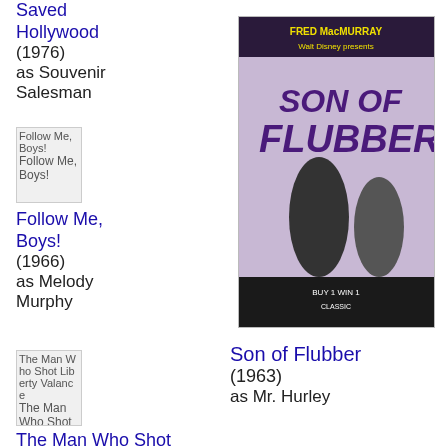Saved Hollywood (1976) as Souvenir Salesman
[Figure (other): Broken image placeholder for Follow Me, Boys!]
Follow Me, Boys! (1966) as Melody Murphy
[Figure (photo): DVD cover of Son of Flubber (1963)]
Son of Flubber (1963) as Mr. Hurley
[Figure (other): Broken image placeholder for The Man Who Shot Liberty Valance]
The Man Who Shot Liberty Valance The Man Who